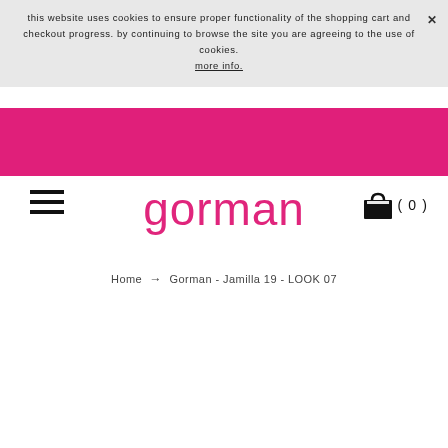this website uses cookies to ensure proper functionality of the shopping cart and checkout progress. by continuing to browse the site you are agreeing to the use of cookies. more info.
[Figure (other): Pink horizontal navigation bar]
[Figure (other): Hamburger menu icon (three horizontal lines)]
gorman
[Figure (other): Shopping bag/cart icon with count (0)]
Home → Gorman - Jamilla 19 - LOOK 07